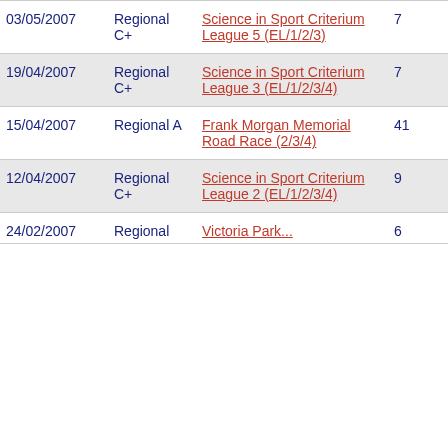| 03/05/2007 | Regional C+ | Science in Sport Criterium League 5 (EL/1/2/3) | 7 | 3 |
| 19/04/2007 | Regional C+ | Science in Sport Criterium League 3 (EL/1/2/3/4) | 7 | 3 |
| 15/04/2007 | Regional A | Frank Morgan Memorial Road Race (2/3/4) | 41 | 0 |
| 12/04/2007 | Regional C+ | Science in Sport Criterium League 2 (EL/1/2/3/4) | 9 | 1 |
| 24/02/2007 | Regional | Victoria Park... | 6 | 4 |